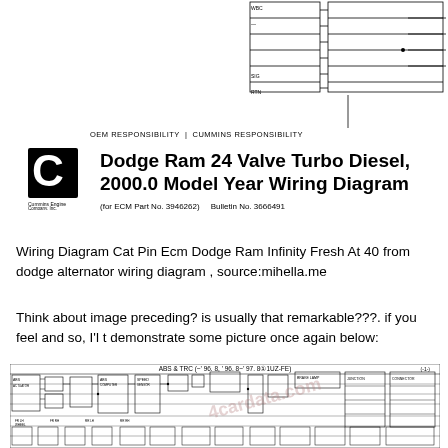[Figure (schematic): Partial Dodge Ram 24 Valve Turbo Diesel wiring diagram schematic showing connector block at top right with OEM and Cummins responsibility labels]
[Figure (logo): Cummins Engine Company logo - C symbol in black square]
Dodge Ram 24 Valve Turbo Diesel, 2000.0 Model Year Wiring Diagram
(for ECM Part No. 3946262)    Bulletin No. 3666491
Wiring Diagram Cat Pin Ecm Dodge Ram Infinity Fresh At 40 from dodge alternator wiring diagram , source:mihella.me
Think about image preceding? is usually that remarkable???. if you feel and so, I'l t demonstrate some picture once again below:
[Figure (schematic): ABS & TRC (~'96.8, '96.8~'97.8 01UZ-FE) wiring diagram showing complex automotive ABS and traction control electrical schematic with multiple connectors, relays, and signal lines]